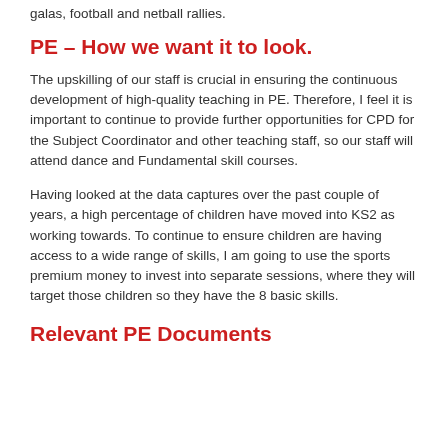galas, football and netball rallies.
PE – How we want it to look.
The upskilling of our staff is crucial in ensuring the continuous development of high-quality teaching in PE. Therefore, I feel it is important to continue to provide further opportunities for CPD for the Subject Coordinator and other teaching staff, so our staff will attend dance and Fundamental skill courses.
Having looked at the data captures over the past couple of years, a high percentage of children have moved into KS2 as working towards. To continue to ensure children are having access to a wide range of skills, I am going to use the sports premium money to invest into separate sessions, where they will target those children so they have the 8 basic skills.
Relevant PE Documents